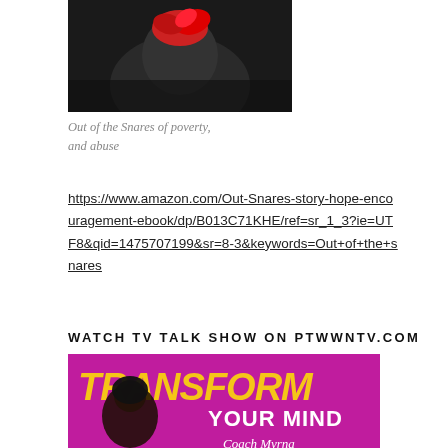[Figure (photo): Black and white photo of a person with a red head covering or flower]
Out of the Snares of poverty, and abuse
https://www.amazon.com/Out-Snares-story-hope-encouragement-ebook/dp/B013C71KHE/ref=sr_1_3?ie=UTF8&qid=1475707199&sr=8-3&keywords=Out+of+the+snares
WATCH TV TALK SHOW ON PTWWNTV.COM
[Figure (photo): Transform Your Mind TV show promotional image with Coach Myrna on a purple/magenta background]